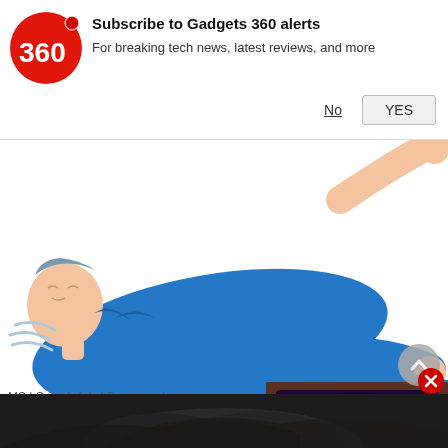[Figure (logo): Gadgets 360 logo — red circle with white '360' text and a red dot]
Subscribe to Gadgets 360 alerts
For breaking tech news, latest reviews, and more
No
YES
[Figure (illustration): Cartoon illustration of a man in a blue suit lying on his back, arms stretched outward, appearing distressed or having a seizure]
Red Flag Signs of Multiple Scler... May Not Be Aware Of
MS | Search Ads | Sponsored
[Figure (screenshot): Small video thumbnail showing a TV displaying a purple galaxy/spiral nebula image, with a red play button overlay and a red X close button]
[Figure (photo): Partial photo at the bottom of the page showing a person's head, dark background]